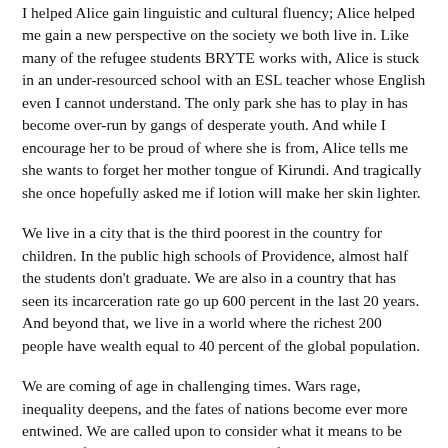I helped Alice gain linguistic and cultural fluency; Alice helped me gain a new perspective on the society we both live in. Like many of the refugee students BRYTE works with, Alice is stuck in an under-resourced school with an ESL teacher whose English even I cannot understand. The only park she has to play in has become over-run by gangs of desperate youth. And while I encourage her to be proud of where she is from, Alice tells me she wants to forget her mother tongue of Kirundi. And tragically she once hopefully asked me if lotion will make her skin lighter.
We live in a city that is the third poorest in the country for children. In the public high schools of Providence, almost half the students don't graduate. We are also in a country that has seen its incarceration rate go up 600 percent in the last 20 years. And beyond that, we live in a world where the richest 200 people have wealth equal to 40 percent of the global population.
We are coming of age in challenging times. Wars rage, inequality deepens, and the fates of nations become ever more entwined. We are called upon to consider what it means to be citizens of the world. Winston Churchill famously said, “With opportunity comes responsibility.” What responsibilities do we as Brown graduates have? What do we do with the resources we have been given? And how shall we use our privilege, our power?